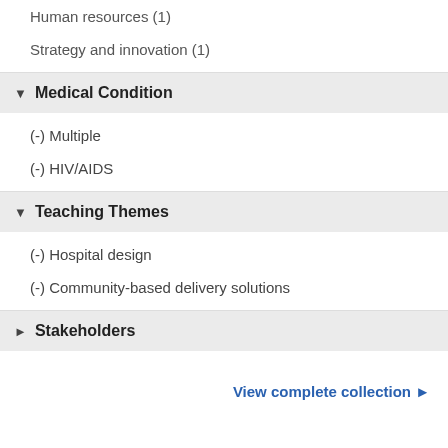Human resources (1)
Strategy and innovation (1)
▼ Medical Condition
(-) Multiple
(-) HIV/AIDS
▼ Teaching Themes
(-) Hospital design
(-) Community-based delivery solutions
► Stakeholders
View complete collection ►